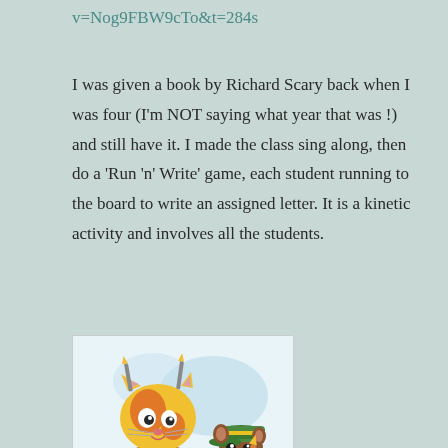v=Nog9FBW9cTo&t=284s
I was given a book by Richard Scary back when I was four (I’m NOT saying what year that was !) and still have it. I made the class sing along, then do a ‘Run ‘n’ Write’ game, each student running to the board to write an assigned letter. It is a kinetic activity and involves all the students.
[Figure (illustration): Richard Scarry illustration showing a cat character wearing overalls sitting at a desk writing, with a smaller mouse character wearing a green cap also writing with a pencil.]